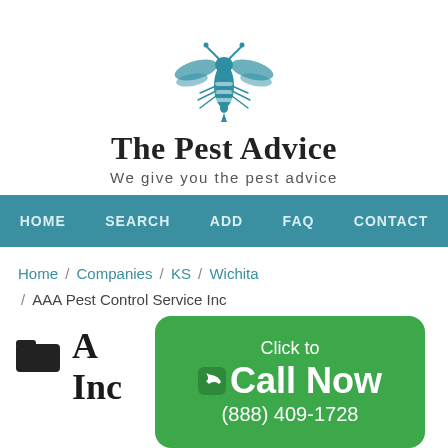[Figure (logo): Teal wasp/bee logo icon for The Pest Advice website]
The Pest Advice
We give you the pest advice
HOME   SEARCH   ADD   FAQ   CONTACT
Home / Companies / KS / Wichita / AAA Pest Control Service Inc
[Figure (illustration): Dark folder icon]
AAA Pest Control Service Inc
[Figure (infographic): Green call-to-action button overlay: Click to Call Now (888) 409-1728]